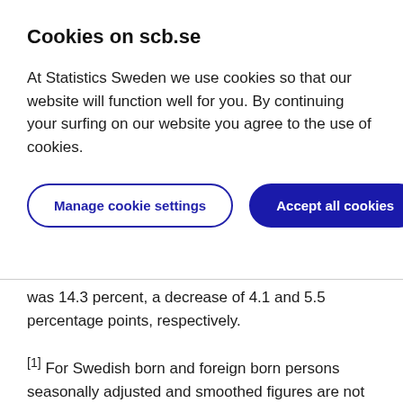Cookies on scb.se
At Statistics Sweden we use cookies so that our website will function well for you. By continuing your surfing on our website you agree to the use of cookies.
Manage cookie settings | Accept all cookies
was 14.3 percent, a decrease of 4.1 and 5.5 percentage points, respectively.
[1] For Swedish born and foreign born persons seasonally adjusted and smoothed figures are not presented this quarter since these series are not yet linked.